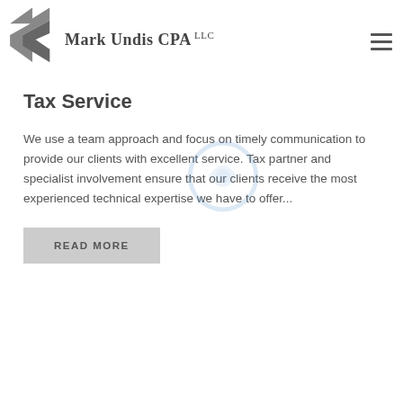your Business or individual needs
[Figure (logo): Mark Undis CPA LLC logo with angular arrow/chevron graphic in gray]
Tax Service
We use a team approach and focus on timely communication to provide our clients with excellent service. Tax partner and specialist involvement ensure that our clients receive the most experienced technical expertise we have to offer...
READ MORE